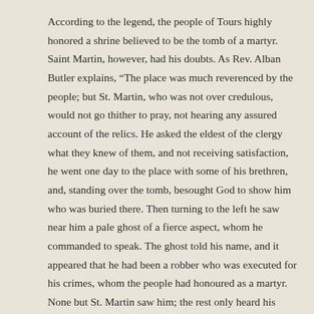According to the legend, the people of Tours highly honored a shrine believed to be the tomb of a martyr.  Saint Martin, however, had his doubts.  As Rev. Alban Butler explains, “The place was much reverenced by the people; but St. Martin, who was not over credulous, would not go thither to pray, not hearing any assured account of the relics.  He asked the eldest of the clergy what they knew of them, and not receiving satisfaction, he went one day to the place with some of his brethren, and, standing over the tomb, besought God to show him who was buried there.  Then turning to the left he saw near him a pale ghost of a fierce aspect, whom he commanded to speak.  The ghost told his name, and it appeared that he had been a robber who was executed for his crimes, whom the people had honoured as a martyr.  None but St. Martin saw him; the rest only heard his voice.  He thereupon caused the altar to be removed;